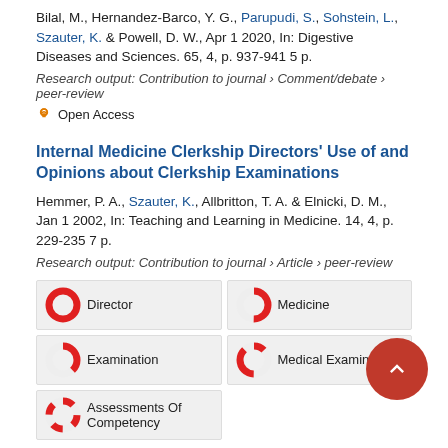Bilal, M., Hernandez-Barco, Y. G., Parupudi, S., Sohstein, L., Szauter, K. & Powell, D. W., Apr 1 2020, In: Digestive Diseases and Sciences. 65, 4, p. 937-941 5 p.
Research output: Contribution to journal › Comment/debate › peer-review
Open Access
Internal Medicine Clerkship Directors' Use of and Opinions about Clerkship Examinations
Hemmer, P. A., Szauter, K., Allbritton, T. A. & Elnicki, D. M., Jan 1 2002, In: Teaching and Learning in Medicine. 14, 4, p. 229-235 7 p.
Research output: Contribution to journal › Article › peer-review
Director | Medicine | Examination | Medical Examiner | Assessments Of Competency
Introducing and assessing bioethical training in an